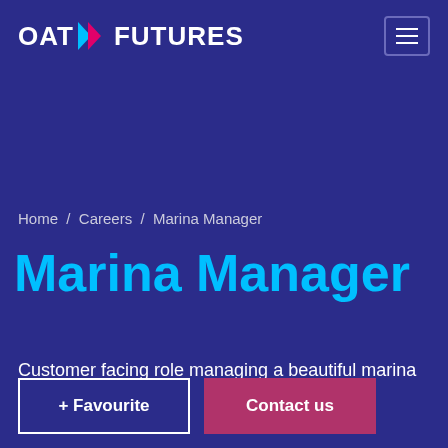OAT FUTURES
Home / Careers / Marina Manager
Marina Manager
Customer facing role managing a beautiful marina
+ Favourite
Contact us